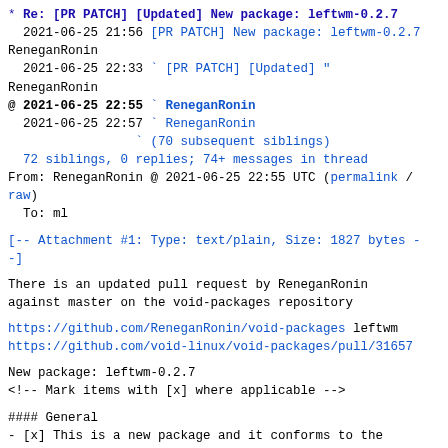* Re: [PR PATCH] [Updated] New package: leftwm-0.2.7
  2021-06-25 21:56 [PR PATCH] New package: leftwm-0.2.7
ReneganRonin
  2021-06-25 22:33 ` [PR PATCH] [Updated] "
ReneganRonin
@ 2021-06-25 22:55 ` ReneganRonin
  2021-06-25 22:57 ` ReneganRonin
                 ` (70 subsequent siblings)
  72 siblings, 0 replies; 74+ messages in thread
From: ReneganRonin @ 2021-06-25 22:55 UTC (permalink / raw)
  To: ml
[-- Attachment #1: Type: text/plain, Size: 1827 bytes --]
There is an updated pull request by ReneganRonin
against master on the void-packages repository
https://github.com/ReneganRonin/void-packages leftwm
https://github.com/void-linux/void-packages/pull/31657
New package: leftwm-0.2.7
<!-- Mark items with [x] where applicable -->
#### General
- [x] This is a new package and it conforms to the
[quality requirements](https://github.com/void-linux/void-packages/blob/master/Manual.md#quality-requirements)